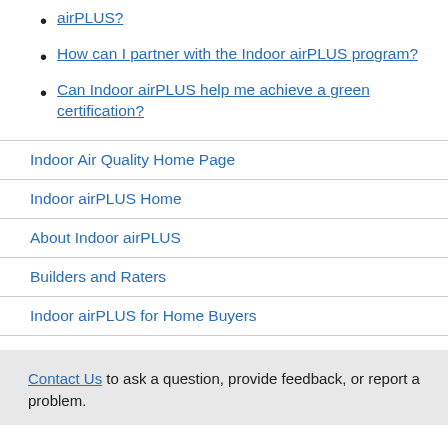airPLUS?
How can I partner with the Indoor airPLUS program?
Can Indoor airPLUS help me achieve a green certification?
Indoor Air Quality Home Page
Indoor airPLUS Home
About Indoor airPLUS
Builders and Raters
Indoor airPLUS for Home Buyers
Contact Us to ask a question, provide feedback, or report a problem.